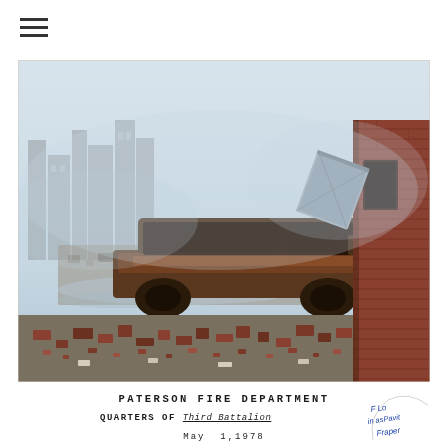[Figure (photo): Fire damage scene showing a burned-out station wagon/estate car in the foreground, surrounded by debris and rubble. Behind the vehicle are the remains of collapsed or heavily damaged brick buildings with smoke or haze in the background. A brick building is visible on the right edge of the frame. The ground is covered in bricks, debris, and water.]
PATERSON FIRE DEPARTMENT
QUARTERS OF Third Battalion
May 1,1978